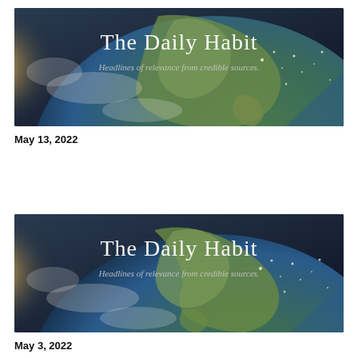[Figure (illustration): The Daily Habit newsletter banner showing Earth from space with North America visible, bright sunlight on the left. Title 'The Daily Habit' and subtitle 'Headlines of relevance from credible sources.' overlaid on image.]
May 13, 2022
[Figure (illustration): The Daily Habit newsletter banner showing Earth from space with North America visible, bright sunlight on the left. Title 'The Daily Habit' and subtitle 'Headlines of relevance from credible sources.' overlaid on image.]
May 3, 2022